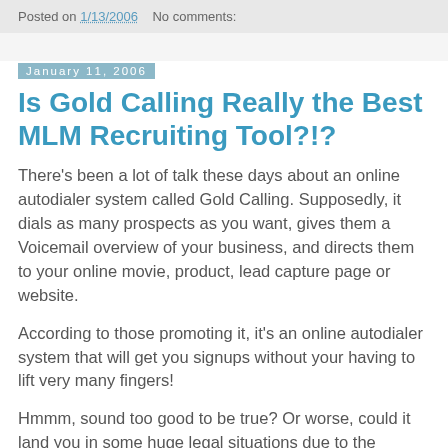Posted on 1/13/2006   No comments:
January 11, 2006
Is Gold Calling Really the Best MLM Recruiting Tool?!?
There's been a lot of talk these days about an online autodialer system called Gold Calling. Supposedly, it dials as many prospects as you want, gives them a Voicemail overview of your business, and directs them to your online movie, product, lead capture page or website.
According to those promoting it, it's an online autodialer system that will get you signups without your having to lift very many fingers!
Hmmm, sound too good to be true? Or worse, could it land you in some huge legal situations due to the National Do Not Call (DNC) Registry regulations?